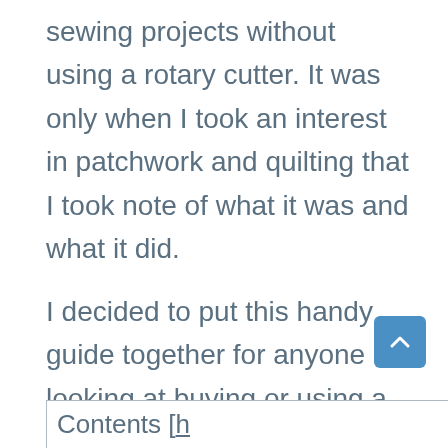sewing projects without using a rotary cutter. It was only when I took an interest in patchwork and quilting that I took note of what it was and what it did.
I decided to put this handy guide together for anyone looking at buying or using a rotary cutter and wants to know more.